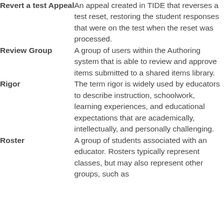Revert a test Appeal: An appeal created in TIDE that reverses a test reset, restoring the student responses that were on the test when the reset was processed.
Review Group: A group of users within the Authoring system that is able to review and approve items submitted to a shared items library.
Rigor: The term rigor is widely used by educators to describe instruction, schoolwork, learning experiences, and educational expectations that are academically, intellectually, and personally challenging.
Roster: A group of students associated with an educator. Rosters typically represent classes, but may also represent other groups, such as